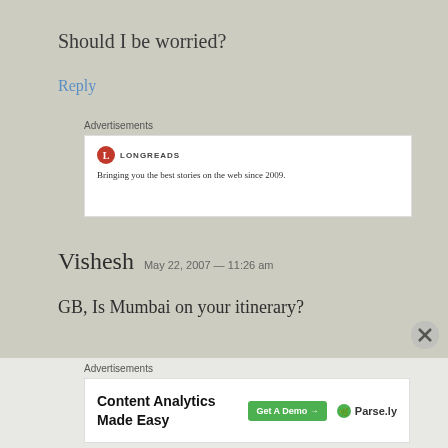Should I be worried?
Reply
Advertisements
[Figure (other): Longreads advertisement: logo and tagline 'Bringing you the best stories on the web since 2009.']
Vishesh  May 22, 2007 — 11:26 am
GB, Is Mumbai on your itinerary?
Advertisements
[Figure (other): Content Analytics Made Easy — Get A Demo → Parse.ly advertisement]